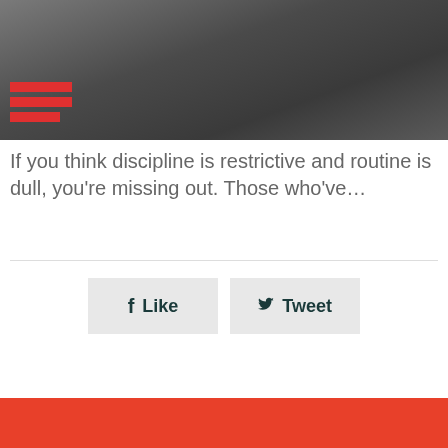[Figure (photo): Dark blurred background image, likely fabric or abstract texture, with a red hamburger/menu icon overlay in the lower-left corner]
If you think discipline is restrictive and routine is dull, you're missing out. Those who've...
[Figure (infographic): Social sharing buttons: a Like button with Facebook icon and a Tweet button with Twitter bird icon, both on light grey backgrounds]